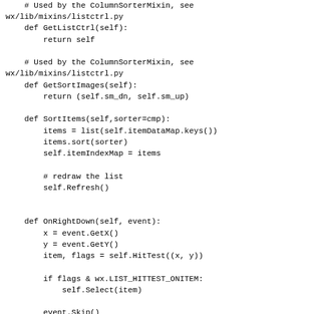# Used by the ColumnSorterMixin, see wx/lib/mixins/listctrl.py
    def GetListCtrl(self):
        return self

    # Used by the ColumnSorterMixin, see wx/lib/mixins/listctrl.py
    def GetSortImages(self):
        return (self.sm_dn, self.sm_up)

    def SortItems(self,sorter=cmp):
        items = list(self.itemDataMap.keys())
        items.sort(sorter)
        self.itemIndexMap = items

        # redraw the list
        self.Refresh()


    def OnRightDown(self, event):
        x = event.GetX()
        y = event.GetY()
        item, flags = self.HitTest((x, y))

        if flags & wx.LIST_HITTEST_ONITEM:
            self.Select(item)

        event.Skip()


    def getColumnText(self, index, col):